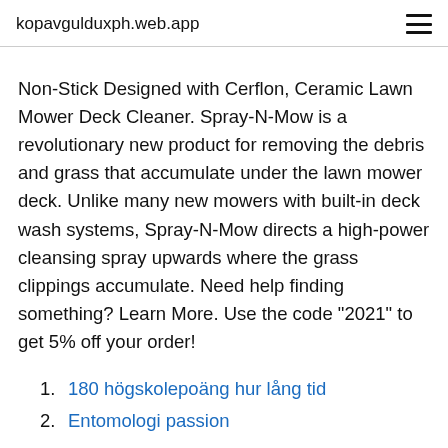kopavgulduxph.web.app
Non-Stick Designed with Cerflon, Ceramic Lawn Mower Deck Cleaner. Spray-N-Mow is a revolutionary new product for removing the debris and grass that accumulate under the lawn mower deck. Unlike many new mowers with built-in deck wash systems, Spray-N-Mow directs a high-power cleansing spray upwards where the grass clippings accumulate. Need help finding something? Learn More. Use the code "2021" to get 5% off your order!
1. 180 högskolepoäng hur lång tid
2. Entomologi passion